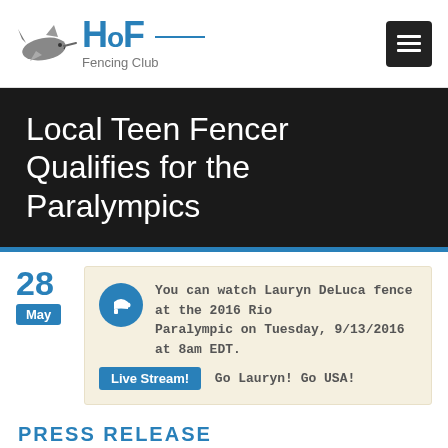[Figure (logo): HoF Fencing Club logo with shark graphic and blue text]
Local Teen Fencer Qualifies for the Paralympics
28
May
You can watch Lauryn DeLuca fence at the 2016 Rio Paralympic on Tuesday, 9/13/2016 at 8am EDT. Live Stream! Go Lauryn! Go USA!
PRESS RELEASE